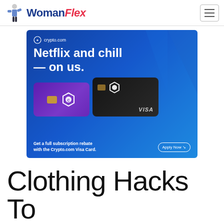WomanFlex
[Figure (illustration): Crypto.com advertisement banner with headline 'Netflix and chill — on us.' showing two Crypto.com Visa Cards (purple and black) with text 'Get a full subscription rebate with the Crypto.com Visa Card.' and an 'Apply Now' button]
Clothing Hacks To